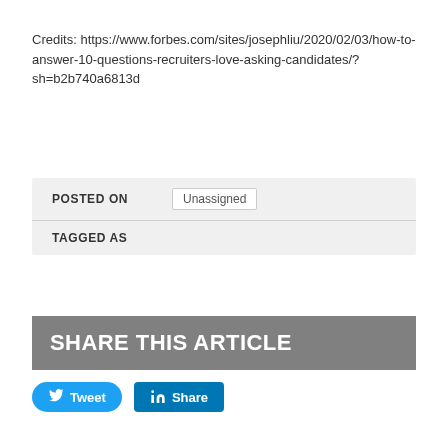Credits: https://www.forbes.com/sites/josephliu/2020/02/03/how-to-answer-10-questions-recruiters-love-asking-candidates/?sh=b2b740a6813d
| Field | Value |
| --- | --- |
| POSTED ON | Unassigned |
| TAGGED AS |  |
SHARE THIS ARTICLE
[Figure (other): Tweet and Share social media buttons]